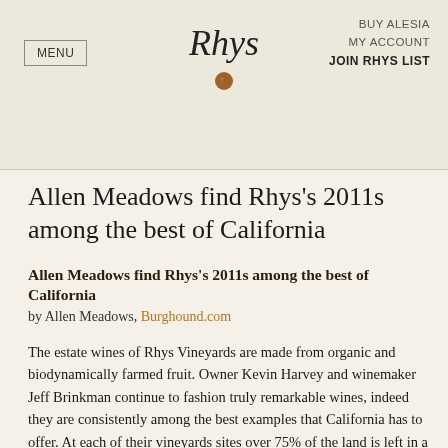MENU | Rhys | BUY ALESIA | MY ACCOUNT | JOIN RHYS LIST
Allen Meadows find Rhys's 2011s among the best of California
Allen Meadows find Rhys's 2011s among the best of California
by Allen Meadows, Burghound.com
The estate wines of Rhys Vineyards are made from organic and biodynamically farmed fruit. Owner Kevin Harvey and winemaker Jeff Brinkman continue to fashion truly remarkable wines, indeed they are consistently among the best examples that California has to offer. At each of their vineyards sites over 75% of the land is left in a completely natural state. In addition to the native wildlife